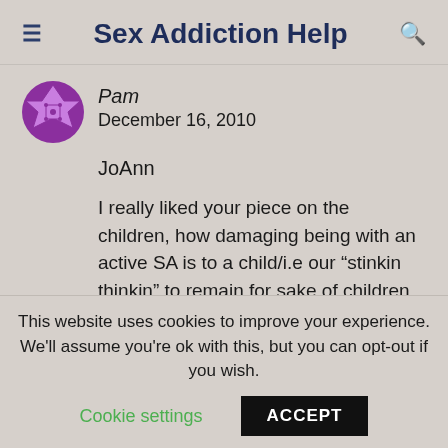Sex Addiction Help
Pam
December 16, 2010
JoAnn
I really liked your piece on the children, how damaging being with an active SA is to a child/i.e our “stinkin thinkin” to remain for sake of children isn’t necessarily a good one. I certainly agree. But here is
This website uses cookies to improve your experience. We'll assume you're ok with this, but you can opt-out if you wish.
Cookie settings  ACCEPT